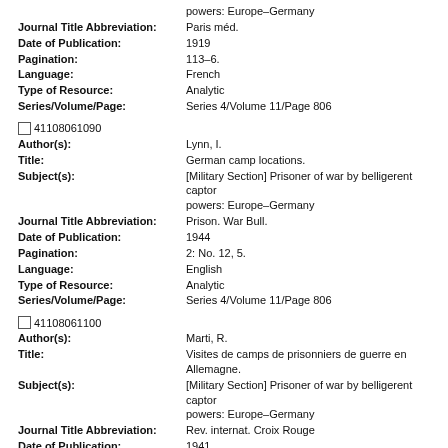powers: Europe–Germany
Journal Title Abbreviation: Paris méd.
Date of Publication: 1919
Pagination: 113–6.
Language: French
Type of Resource: Analytic
Series/Volume/Page: Series 4/Volume 11/Page 806
41108061090
Author(s): Lynn, I.
Title: German camp locations.
Subject(s): [Military Section] Prisoner of war by belligerent captor powers: Europe–Germany
Journal Title Abbreviation: Prison. War Bull.
Date of Publication: 1944
Pagination: 2: No. 12, 5.
Language: English
Type of Resource: Analytic
Series/Volume/Page: Series 4/Volume 11/Page 806
41108061100
Author(s): Marti, R.
Title: Visites de camps de prisonniers de guerre en Allemagne.
Subject(s): [Military Section] Prisoner of war by belligerent captor powers: Europe–Germany
Journal Title Abbreviation: Rev. internat. Croix Rouge
Date of Publication: 1941
Pagination: 23: 970–6.
Language: French
Type of Resource: Analytic